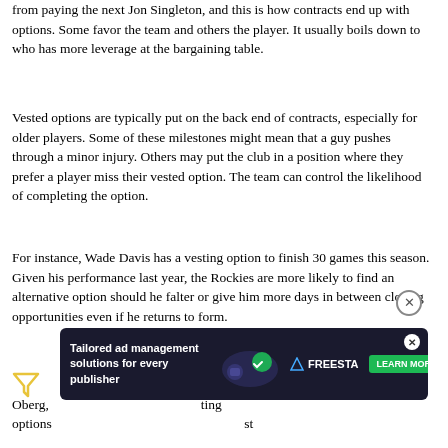from paying the next Jon Singleton, and this is how contracts end up with options. Some favor the team and others the player. It usually boils down to who has more leverage at the bargaining table.
Vested options are typically put on the back end of contracts, especially for older players. Some of these milestones might mean that a guy pushes through a minor injury. Others may put the club in a position where they prefer a player miss their vested option. The team can control the likelihood of completing the option.
For instance, Wade Davis has a vesting option to finish 30 games this season. Given his performance last year, the Rockies are more likely to find an alternative option should he falter or give him more days in between closing opportunities even if he returns to form.
[Figure (other): Advertisement banner: Tailored ad management solutions for every publisher — FREESTA with Learn More button and graphic illustration]
What does this mean for you in fantasy? It means Scott Oberg, ... ting options ... st